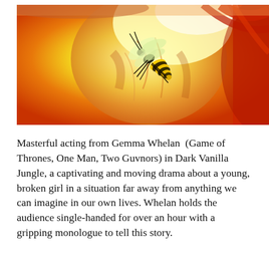[Figure (photo): Close-up macro photograph of a wasp or hornet on skin, with vivid yellow-orange and red color tones, high contrast warm lighting. The insect has visible wings, black and yellow striped abdomen, and long legs.]
Masterful acting from Gemma Whelan  (Game of Thrones, One Man, Two Guvnors) in Dark Vanilla Jungle, a captivating and moving drama about a young, broken girl in a situation far away from anything we can imagine in our own lives. Whelan holds the audience single-handed for over an hour with a gripping monologue to tell this story.